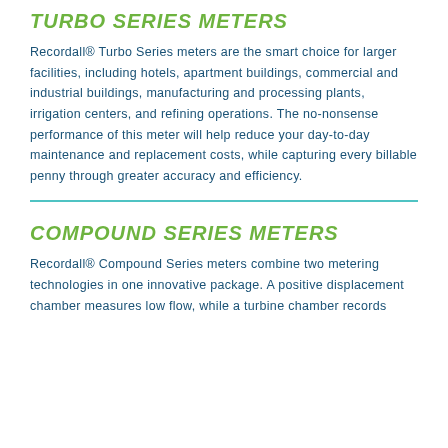TURBO SERIES METERS
Recordall® Turbo Series meters are the smart choice for larger facilities, including hotels, apartment buildings, commercial and industrial buildings, manufacturing and processing plants, irrigation centers, and refining operations. The no-nonsense performance of this meter will help reduce your day-to-day maintenance and replacement costs, while capturing every billable penny through greater accuracy and efficiency.
COMPOUND SERIES METERS
Recordall® Compound Series meters combine two metering technologies in one innovative package. A positive displacement chamber measures low flow, while a turbine chamber records